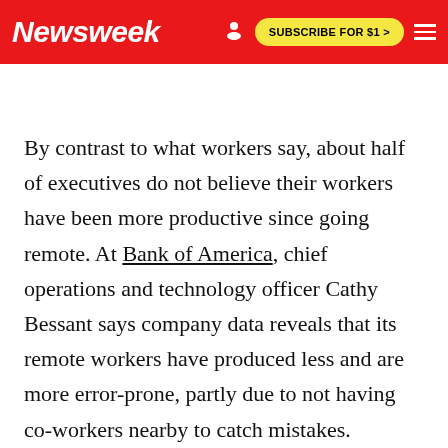Newsweek | SUBSCRIBE FOR $1 >
By contrast to what workers say, about half of executives do not believe their workers have been more productive since going remote. At Bank of America, chief operations and technology officer Cathy Bessant says company data reveals that its remote workers have produced less and are more error-prone, partly due to not having co-workers nearby to catch mistakes.